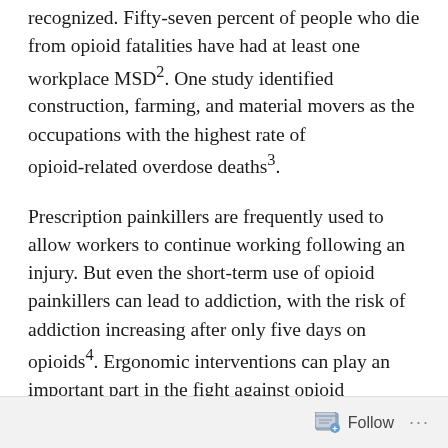recognized. Fifty-seven percent of people who die from opioid fatalities have had at least one workplace MSD². One study identified construction, farming, and material movers as the occupations with the highest rate of opioid-related overdose deaths³.
Prescription painkillers are frequently used to allow workers to continue working following an injury. But even the short-term use of opioid painkillers can lead to addiction, with the risk of addiction increasing after only five days on opioids⁴. Ergonomic interventions can play an important part in the fight against opioid addiction by reducing the risk of on-the-job injuries.
Follow